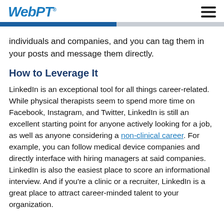WebPT
individuals and companies, and you can tag them in your posts and message them directly.
How to Leverage It
LinkedIn is an exceptional tool for all things career-related. While physical therapists seem to spend more time on Facebook, Instagram, and Twitter, LinkedIn is still an excellent starting point for anyone actively looking for a job, as well as anyone considering a non-clinical career. For example, you can follow medical device companies and directly interface with hiring managers at said companies. LinkedIn is also the easiest place to score an informational interview. And if you're a clinic or a recruiter, LinkedIn is a great place to attract career-minded talent to your organization.